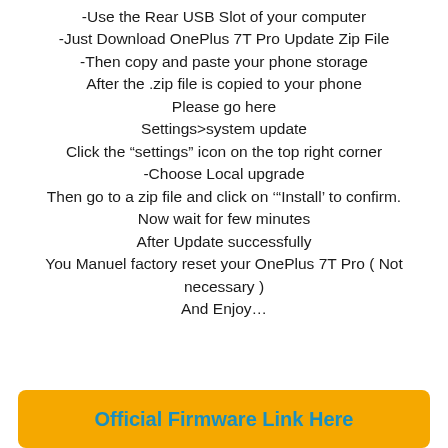-Use the Rear USB Slot of your computer
-Just Download OnePlus 7T Pro Update Zip File
-Then copy and paste your phone storage
After the .zip file is copied to your phone
Please go here
Settings>system update
Click the “settings” icon on the top right corner
-Choose Local upgrade
Then go to a zip file and click on ‘”Install’ to confirm.
Now wait for few minutes
After Update successfully
You Manuel factory reset your OnePlus 7T Pro ( Not necessary )
And Enjoy…
Official Firmware Link Here